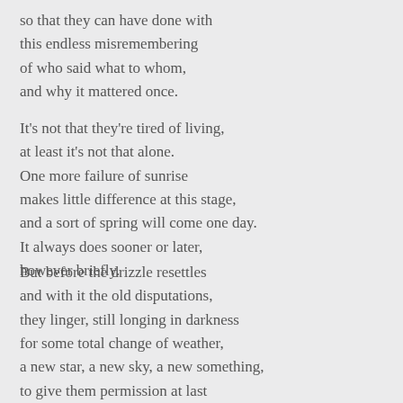so that they can have done with
this endless misremembering
of who said what to whom,
and why it mattered once.
It's not that they're tired of living,
at least it's not that alone.
One more failure of sunrise
makes little difference at this stage,
and a sort of spring will come one day.
It always does sooner or later,
however briefly.
But before the drizzle resettles
and with it the old disputations,
they linger, still longing in darkness
for some total change of weather,
a new star, a new sky, a new something,
to give them permission at last
to depart this place in peace.